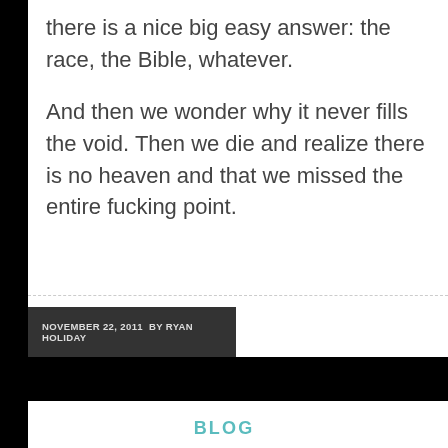there is a nice big easy answer: the race, the Bible, whatever.
And then we wonder why it never fills the void. Then we die and realize there is no heaven and that we missed the entire fucking point.
NOVEMBER 22, 2011  BY RYAN HOLIDAY
BLOG